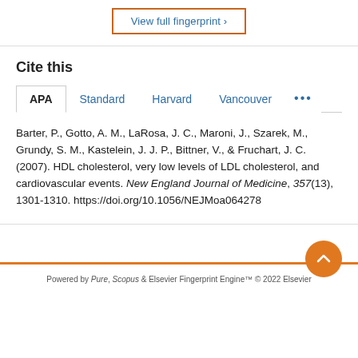View full fingerprint ›
Cite this
APA   Standard   Harvard   Vancouver   •••
Barter, P., Gotto, A. M., LaRosa, J. C., Maroni, J., Szarek, M., Grundy, S. M., Kastelein, J. J. P., Bittner, V., & Fruchart, J. C. (2007). HDL cholesterol, very low levels of LDL cholesterol, and cardiovascular events. New England Journal of Medicine, 357(13), 1301-1310. https://doi.org/10.1056/NEJMoa064278
Powered by Pure, Scopus & Elsevier Fingerprint Engine™ © 2022 Elsevier